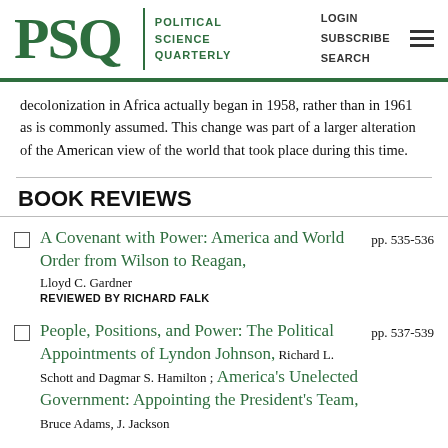PSQ POLITICAL SCIENCE QUARTERLY | LOGIN SUBSCRIBE SEARCH
decolonization in Africa actually began in 1958, rather than in 1961 as is commonly assumed. This change was part of a larger alteration of the American view of the world that took place during this time.
BOOK REVIEWS
A Covenant with Power: America and World Order from Wilson to Reagan, Lloyd C. Gardner REVIEWED BY RICHARD FALK pp. 535-536
People, Positions, and Power: The Political Appointments of Lyndon Johnson, Richard L. Schott and Dagmar S. Hamilton ; America's Unelected Government: Appointing the President's Team, Bruce Adams, J. Jackson pp. 537-539